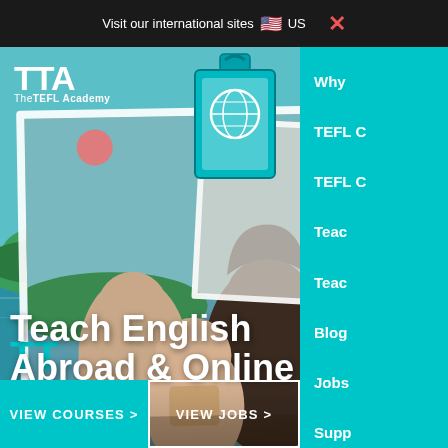Visit our international sites 🇺🇸 US ✕
[Figure (screenshot): The TEFL Academy (TTA) website homepage screenshot showing a hero image with two smiling people (a young Asian girl and a Black woman), tropical ocean background, clipboard graphic, TTA logo, headline 'Teach English Abroad & Online', VIEW COURSES and VIEW JOBS buttons, and a teal right-side navigation menu with items: Why, TEFL C, TEFL C, Teac, Teac, Blog, Jobs, Supp]
Teach English Abroad & Online
Why
TEFL C
TEFL C
Teac
Teac
Blog
Jobs
Supp